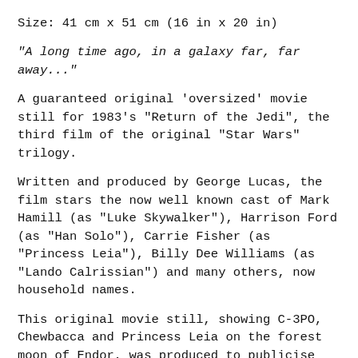Size: 41 cm x 51 cm (16 in x 20 in)
"A long time ago, in a galaxy far, far away..."
A guaranteed original 'oversized' movie still for 1983's "Return of the Jedi", the third film of the original "Star Wars" trilogy.
Written and produced by George Lucas, the film stars the now well known cast of Mark Hamill (as "Luke Skywalker"), Harrison Ford (as "Han Solo"), Carrie Fisher (as "Princess Leia"), Billy Dee Williams (as "Lando Calrissian") and many others, now household names.
This original movie still, showing C-3PO, Chewbacca and Princess Leia on the forest moon of Endor, was produced to publicise the film in U.S. movie theatres. It is unusual to find movie stills of this size. It is in super condition, with only minor signs of